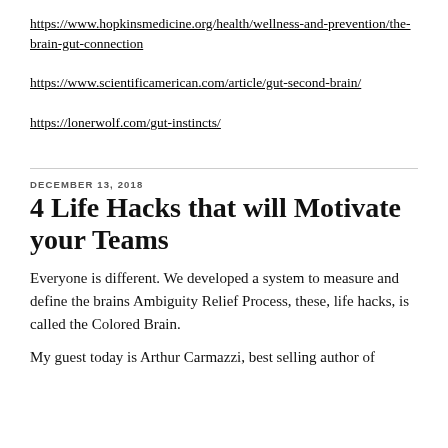https://www.hopkinsmedicine.org/health/wellness-and-prevention/the-brain-gut-connection
https://www.scientificamerican.com/article/gut-second-brain/
https://lonerwolf.com/gut-instincts/
DECEMBER 13, 2018
4 Life Hacks that will Motivate your Teams
Everyone is different. We developed a system to measure and define the brains Ambiguity Relief Process, these, life hacks, is called the Colored Brain.
My guest today is Arthur Carmazzi, best selling author of